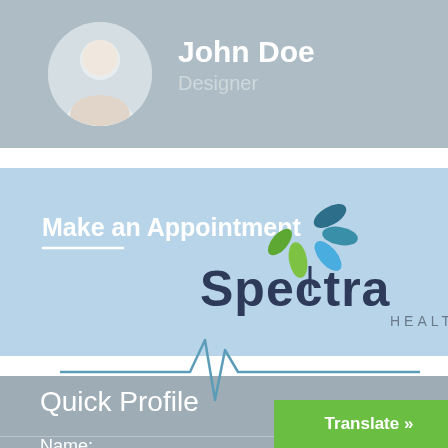[Figure (photo): Circular profile photo of a woman (blonde, smiling, professional appearance)]
John Doe
Designer
[Figure (logo): Spectra Health logo with leaf/plant motif in green and teal, text reads 'Spectra HEALTH']
Make an Appointment
[Figure (infographic): ECG/heartbeat waveform line in teal/steel blue, spanning horizontally across the section transition]
Quick Profile
Name:
Marco Rossi
Address: